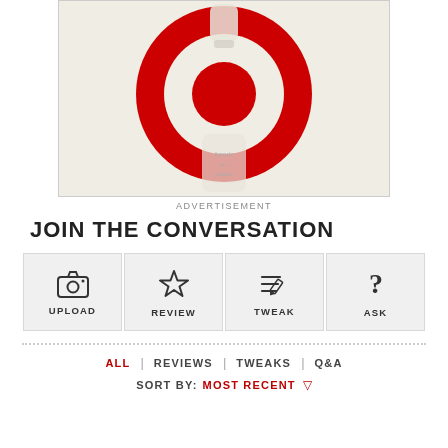[Figure (logo): Target bullseye logo on a beige/cream background with a product bottle partially visible below]
ADVERTISEMENT
JOIN THE CONVERSATION
[Figure (infographic): Four action buttons: UPLOAD (camera icon), REVIEW (star icon), TWEAK (pencil/lines icon), ASK (question mark icon)]
ALL | REVIEWS | TWEAKS | Q&A
SORT BY: MOST RECENT ▾